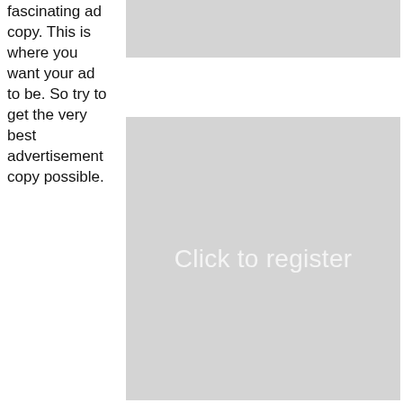fascinating ad copy. This is where you want your ad to be. So try to get the very best advertisement copy possible.
[Figure (other): Gray placeholder rectangle for advertisement (top)]
[Figure (other): Gray placeholder rectangle for advertisement (bottom) with text 'Click to register']